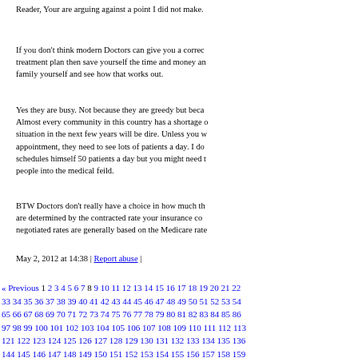Reader, Your are arguing against a point I did not make.
If you don't think modern Doctors can give you a correc treatment plan then save yourself the time and money an family yourself and see how that works out.
Yes they are busy. Not because they are greedy but beca Almost every community in this country has a shortage o situation in the next few years will be dire. Unless you w appointment, they need to see lots of patients a day. I do schedules himself 50 patients a day but you might need t people into the medical feild.
BTW Doctors don't really have a choice in how much th are determined by the contracted rate your insurance co negotiated rates are generally based on the Medicare rate
May 2, 2012 at 14:38 | Report abuse |
« Previous 1 2 3 4 5 6 7 8 9 10 11 12 13 14 15 16 17 18 19 20 21 22 33 34 35 36 37 38 39 40 41 42 43 44 45 46 47 48 49 50 51 52 53 54 65 66 67 68 69 70 71 72 73 74 75 76 77 78 79 80 81 82 83 84 85 86 97 98 99 100 101 102 103 104 105 106 107 108 109 110 111 112 113 121 122 123 124 125 126 127 128 129 130 131 132 133 134 135 136 144 145 146 147 148 149 150 151 152 153 154 155 156 157 158 159